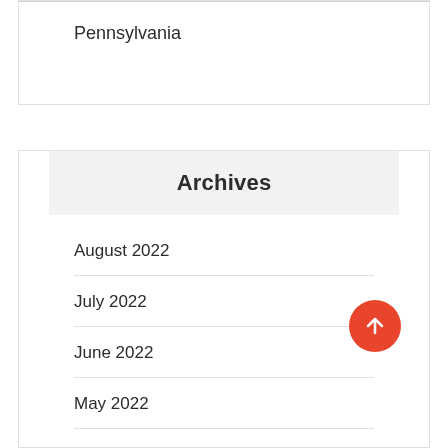Pennsylvania
Archives
August 2022
July 2022
June 2022
May 2022
April 2022
March 2022